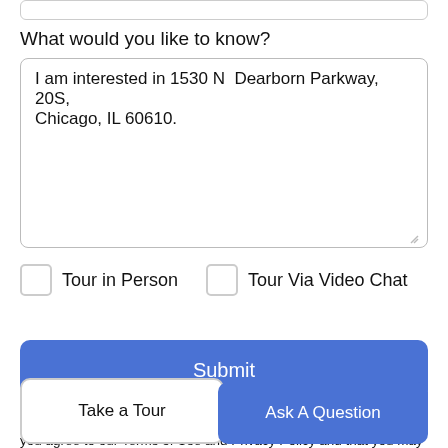What would you like to know?
I am interested in 1530 N  Dearborn Parkway, 20S, Chicago, IL 60610.
Tour in Person
Tour Via Video Chat
Submit
Disclaimer: By entering your information and submitting this form, you agree to our Terms of Use and Privacy Policy and that you may be contacted by
Take a Tour
Ask A Question